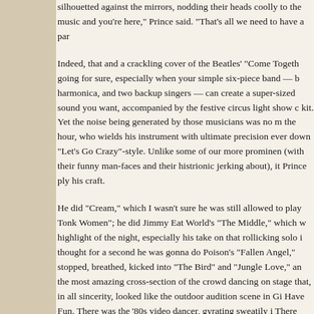silhouetted against the mirrors, nodding their heads coolly to the music and you're here," Prince said. "That's all we need to have a par...
Indeed, that and a crackling cover of the Beatles' "Come Together" going for sure, especially when your simple six-piece band — b... harmonica, and two backup singers — can create a super-sized sound you want, accompanied by the festive circus light show c... kit. Yet the noise being generated by those musicians was no m... the hour, who wields his instrument with ultimate precision ever... down "Let's Go Crazy"-style. Unlike some of our more prominen... (with their funny man-faces and their histrionic jerking about), it... Prince ply his craft.
He did "Cream," which I wasn't sure he was still allowed to play... Tonk Women"; he did Jimmy Eat World's "The Middle," which w... highlight of the night, especially his take on that rollicking solo i... thought for a second he was gonna do Poison's "Fallen Angel,"... stopped, breathed, kicked into "The Bird" and "Jungle Love," an... the most amazing cross-section of the crowd dancing on stage... that, in all sincerity, looked like the outdoor audition scene in Gi... Have Fun. There was the '80s video dancer, gyrating sweatily i... There was the tomboy in her white t-shirt and jeans. There were... cocktail dresses vibing on each other. There was a dude on cru... was squatting behind Prince, inexplicably beating the floor with... none of them stepped to the mic when their host said, "Okay! K... knows 'Glamorous Life'?" and so the backup singers were left t... all alone, but a portly gentleman in a porkpie hat was more tha... verse on "Play That Funky Music." This was when the junior pro... something more like an 8th grade dance. Next to me in the crow...